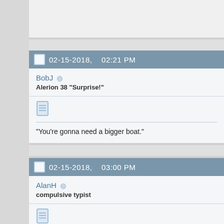02-15-2018, 02:21 PM
BobJ
Alerion 38 "Surprise!"
"You're gonna need a bigger boat."
02-15-2018, 03:00 PM
AlanH
compulsive typist
Having witnessed what Bruce Schwab went through and had to do to sail solo around the world twice, I have to say that I'm not interested.